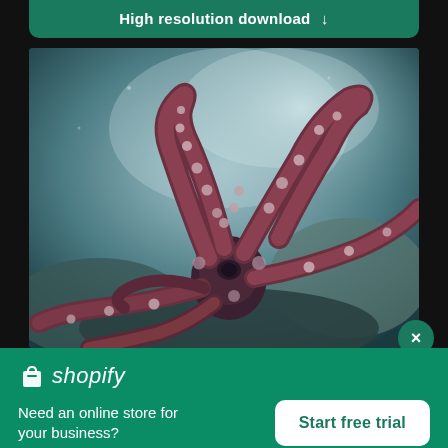High resolution download ↓
[Figure (photo): Close-up photograph of an octopus with tentacles spread out, showing suckers, in an underwater environment with a blueish-grey rocky background.]
shopify
Need an online store for your business?
Start free trial